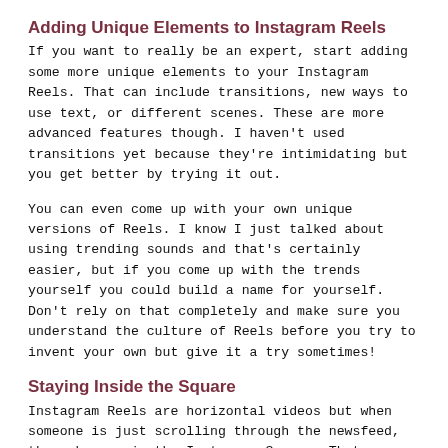Adding Unique Elements to Instagram Reels
If you want to really be an expert, start adding some more unique elements to your Instagram Reels. That can include transitions, new ways to use text, or different scenes. These are more advanced features though. I haven't used transitions yet because they're intimidating but you get better by trying it out.
You can even come up with your own unique versions of Reels. I know I just talked about using trending sounds and that's certainly easier, but if you come up with the trends yourself you could build a name for yourself. Don't rely on that completely and make sure you understand the culture of Reels before you try to invent your own but give it a try sometimes!
Staying Inside the Square
Instagram Reels are horizontal videos but when someone is just scrolling through the newsfeed, they show up in the Instagram Square. That means...